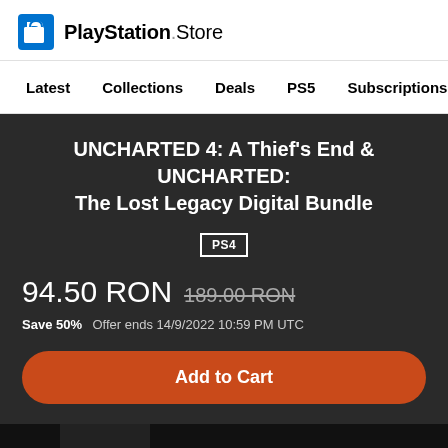[Figure (logo): PlayStation Store logo with shopping bag icon and text]
Latest   Collections   Deals   PS5   Subscriptions >
UNCHARTED 4: A Thief's End & UNCHARTED: The Lost Legacy Digital Bundle
PS4
94.50 RON  189.00 RON
Save 50%  Offer ends 14/9/2022 10:59 PM UTC
Add to Cart